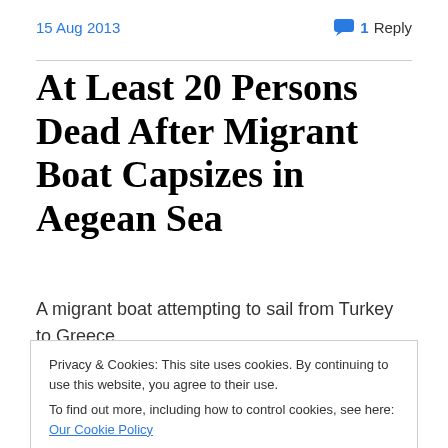15 Aug 2013   💬 1 Reply
At Least 20 Persons Dead After Migrant Boat Capsizes in Aegean Sea
A migrant boat attempting to sail from Turkey to Greece
Privacy & Cookies: This site uses cookies. By continuing to use this website, you agree to their use.
To find out more, including how to control cookies, see here: Our Cookie Policy

Close and accept
captain was reportedly Turkish.